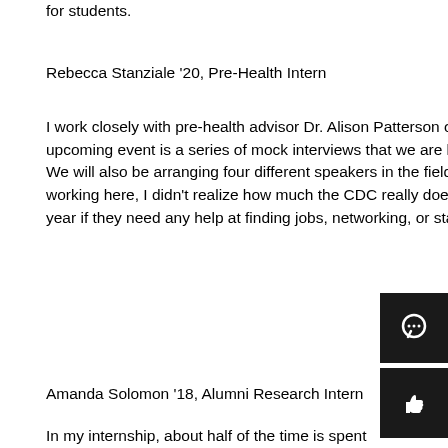for students.
Rebecca Stanziale ’20, Pre-Health Intern
I work closely with pre-health advisor Dr. Alison Patterson on projects and events that the campus has in the pre-health field. Our upcoming event is a series of mock interviews that we are holding during Family Weekend for potential medical school students. We will also be arranging four different speakers in the field to come and speak to students who are interested. Until I started working here, I didn’t realize how much the CDC really does offer. Students are definitely encouraged to stop by a few times each year if they need any help at finding jobs, networking, or starting their career search from scratch.
Amanda Solomon ’18, Alumni Research Intern
In my internship, about half of the time is spent working